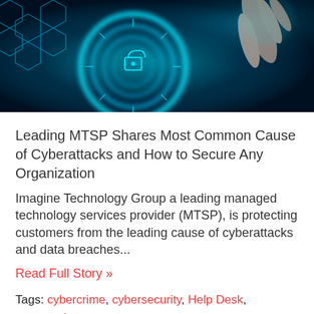[Figure (photo): Cybersecurity themed hero image showing glowing cyan/teal digital interface elements and a hand touching a holographic lock or dial, dark navy background with circuit-like hexagonal patterns.]
Leading MTSP Shares Most Common Cause of Cyberattacks and How to Secure Any Organization
Imagine Technology Group a leading managed technology services provider (MTSP), is protecting customers from the leading cause of cyberattacks and data breaches...
Read Full Story »
Tags: cybercrime, cybersecurity, Help Desk, password management